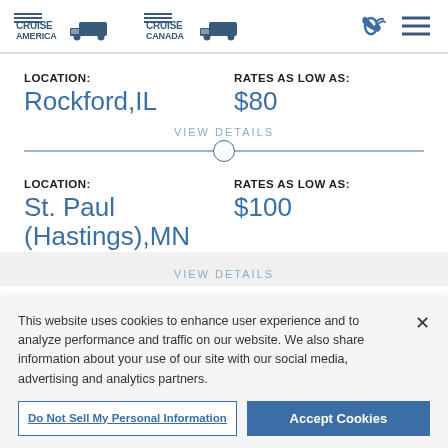[Figure (logo): Cruise America and Cruise Canada logos with RV truck icons, plus phone and menu icons]
LOCATION: Rockford,IL    RATES AS LOW AS: $80
VIEW DETAILS
LOCATION: St. Paul (Hastings),MN    RATES AS LOW AS: $100
VIEW DETAILS
This website uses cookies to enhance user experience and to analyze performance and traffic on our website. We also share information about your use of our site with our social media, advertising and analytics partners.
Do Not Sell My Personal Information
Accept Cookies